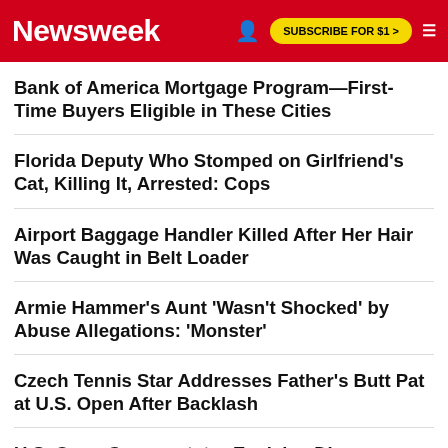Newsweek | SUBSCRIBE FOR $1 >
Bank of America Mortgage Program—First-Time Buyers Eligible in These Cities
Florida Deputy Who Stomped on Girlfriend's Cat, Killing It, Arrested: Cops
Airport Baggage Handler Killed After Her Hair Was Caught in Belt Loader
Armie Hammer's Aunt 'Wasn't Shocked' by Abuse Allegations: 'Monster'
Czech Tennis Star Addresses Father's Butt Pat at U.S. Open After Backlash
U.S. Open Commentator Explains Dionne Warwick and Gladys Knight 'Mistake'
EDITOR'S PICK